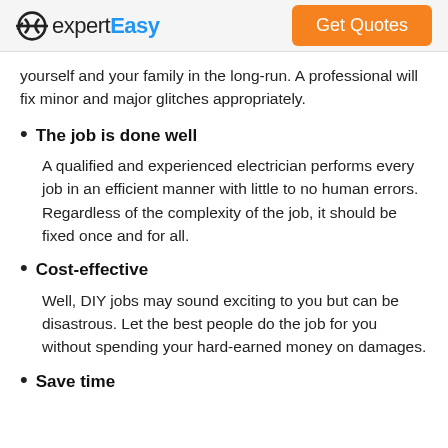expertEasy | Get Quotes
yourself and your family in the long-run. A professional will fix minor and major glitches appropriately.
The job is done well
A qualified and experienced electrician performs every job in an efficient manner with little to no human errors. Regardless of the complexity of the job, it should be fixed once and for all.
Cost-effective
Well, DIY jobs may sound exciting to you but can be disastrous. Let the best people do the job for you without spending your hard-earned money on damages.
Save time